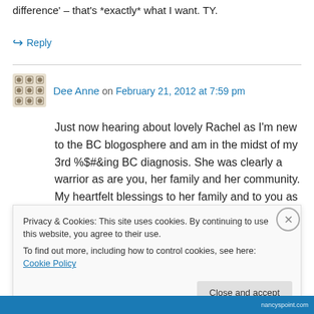difference' – that's *exactly* what I want. TY.
↪ Reply
Dee Anne on February 21, 2012 at 7:59 pm
Just now hearing about lovely Rachel as I'm new to the BC blogosphere and am in the midst of my 3rd %$#&ing BC diagnosis. She was clearly a warrior as are you, her family and her community. My heartfelt blessings to her family and to you as a sincere friend and ally as you
Privacy & Cookies: This site uses cookies. By continuing to use this website, you agree to their use.
To find out more, including how to control cookies, see here: Cookie Policy
Close and accept